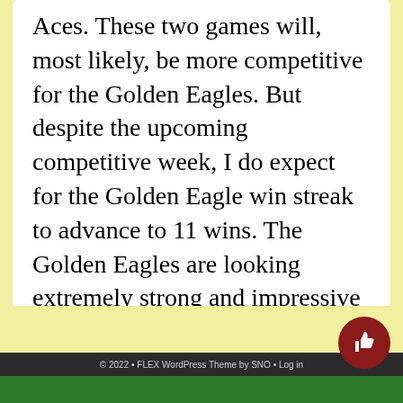Aces. These two games will, most likely, be more competitive for the Golden Eagles. But despite the upcoming competitive week, I do expect for the Golden Eagle win streak to advance to 11 wins. The Golden Eagles are looking extremely strong and impressive at this juncture of the season and I in no-way expect that to change.
© 2022 • FLEX WordPress Theme by SNO • Log in